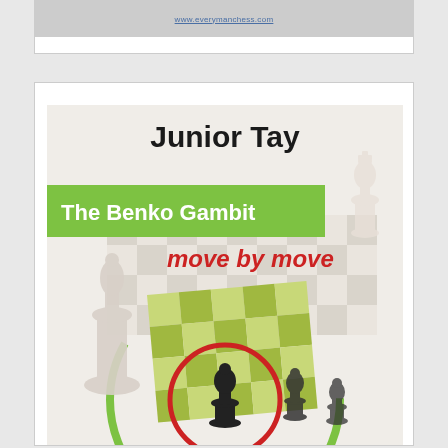[Figure (photo): Partially visible book cover card at the top of the page, showing a cropped image with a URL/link text visible]
[Figure (photo): Book cover for 'The Benko Gambit: move by move' by Junior Tay (Everyman Chess). Shows author name 'Junior Tay' at top in bold, a green banner with 'The Benko Gambit' in white text, 'move by move' in red italic text, and chess pieces on a chessboard with a red circle highlighting a black pawn, and a green circular arc around chess pieces.]